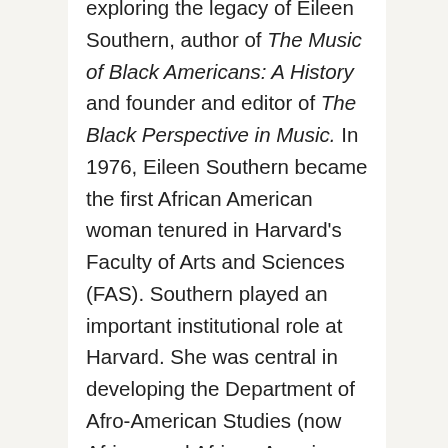exploring the legacy of Eileen Southern, author of The Music of Black Americans: A History and founder and editor of The Black Perspective in Music. In 1976, Eileen Southern became the first African American woman tenured in Harvard's Faculty of Arts and Sciences (FAS). Southern played an important institutional role at Harvard. She was central in developing the Department of Afro-American Studies (now African and African American Studies), serving as an early chair, and was on the faculty of the Department of Music